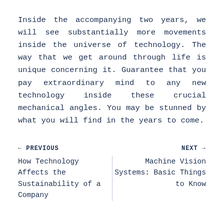Inside the accompanying two years, we will see substantially more movements inside the universe of technology. The way that we get around through life is unique concerning it. Guarantee that you pay extraordinary mind to any new technology inside these crucial mechanical angles. You may be stunned by what you will find in the years to come.
← PREVIOUS | NEXT →
How Technology Affects the Sustainability of a Company | Machine Vision Systems: Basic Things to Know